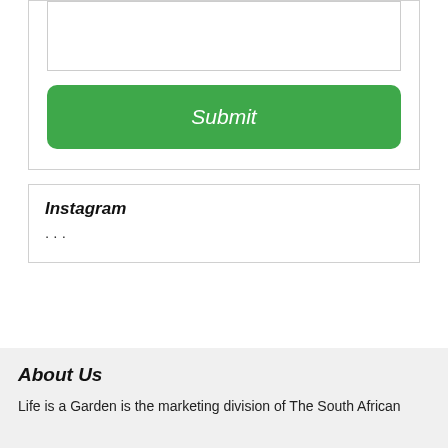[Figure (screenshot): A white form card with an empty textarea input field at the top, partially visible.]
[Figure (screenshot): A green rounded Submit button with italic white text reading 'Submit'.]
Instagram
· · ·
About Us
Life is a Garden is the marketing division of The South African